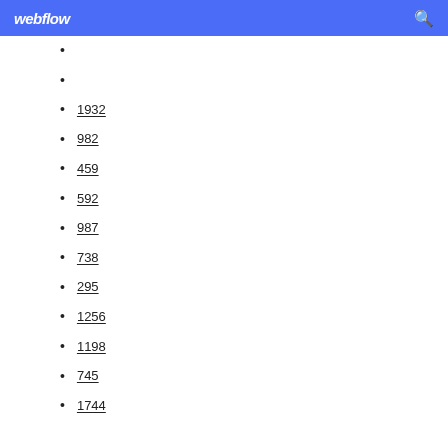webflow
1932
982
459
592
987
738
295
1256
1198
745
1744